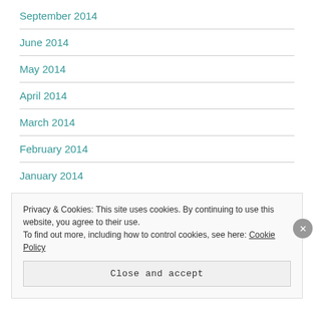September 2014
June 2014
May 2014
April 2014
March 2014
February 2014
January 2014
Privacy & Cookies: This site uses cookies. By continuing to use this website, you agree to their use. To find out more, including how to control cookies, see here: Cookie Policy
Close and accept